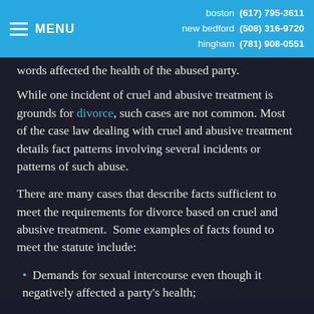MENU  boston (617) 795-3611  new bedford (508) 316-9720  hingham (781) 908-0551
words affected the health of the abused party.
While one incident of cruel and abusive treatment is grounds for divorce, such cases are not common. Most of the case law dealing with cruel and abusive treatment details fact patterns involving several incidents or patterns of such abuse.
There are many cases that describe facts sufficient to meet the requirements for divorce based on cruel and abusive treatment.  Some examples of facts found to meet the statute include:
Demands for sexual intercourse even though it negatively affected a party's health;